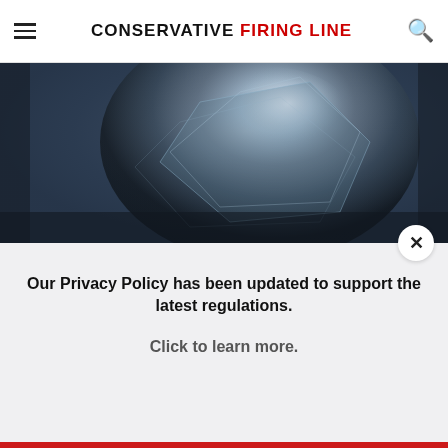CONSERVATIVE FIRING LINE
[Figure (photo): Close-up photo of a crystalline or icy mineral/rock formation with blue-grey and white tones]
Anyone with Diabetes Should Watch This (What They Don't Tell You)
Health is Life
[Figure (photo): A young woman smiling outdoors, with a blue backdrop and trees in the background]
Our Privacy Policy has been updated to support the latest regulations. Click to learn more.